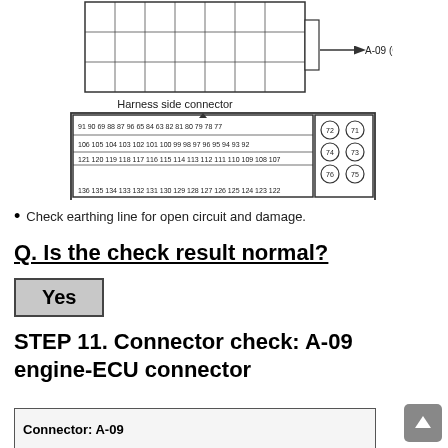[Figure (schematic): Harness side connector diagram showing a large rectangular multi-pin connector block with pin numbers labeled (rows of pins 77-121 region) and a separate 6-pin block (71-76), labeled AK305340 AE, with arrow pointing left to A-09 (GR). Caption: Harness side connector.]
Check earthing line for open circuit and damage.
Q. Is the check result normal?
Yes
STEP 11. Connector check: A-09 engine-ECU connector
[Figure (schematic): Connector A-09 diagram (partial, cut off at bottom of page)]